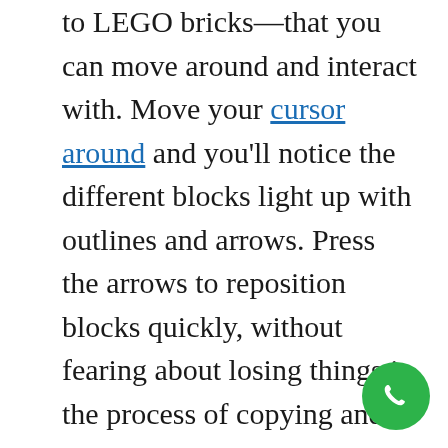to LEGO bricks—that you can move around and interact with. Move your cursor around and you'll notice the different blocks light up with outlines and arrows. Press the arrows to reposition blocks quickly, without fearing about losing things in the process of copying and pasting.

What you are reading now is a text block the most basic block of all. A text block has its own controls to be
[Figure (illustration): Green circular phone/call button icon in the bottom-right corner]